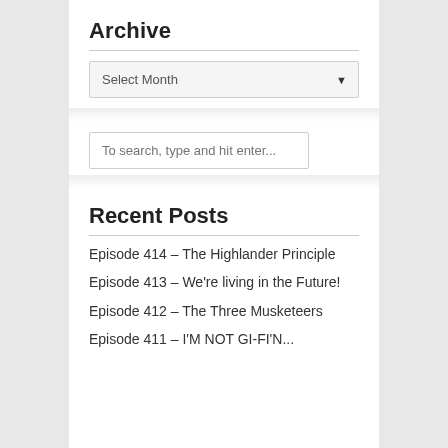Archive
Select Month
To search, type and hit enter...
Recent Posts
Episode 414 – The Highlander Principle
Episode 413 – We're living in the Future!
Episode 412 – The Three Musketeers
Episode 411 – I'M NOT GI-FI'N...